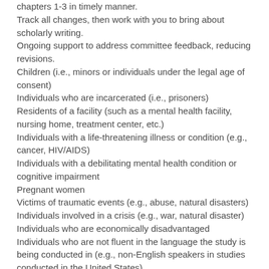chapters 1-3 in timely manner.
Track all changes, then work with you to bring about scholarly writing.
Ongoing support to address committee feedback, reducing revisions.
Children (i.e., minors or individuals under the legal age of consent)
Individuals who are incarcerated (i.e., prisoners)
Residents of a facility (such as a mental health facility, nursing home, treatment center, etc.)
Individuals with a life-threatening illness or condition (e.g., cancer, HIV/AIDS)
Individuals with a debilitating mental health condition or cognitive impairment
Pregnant women
Victims of traumatic events (e.g., abuse, natural disasters)
Individuals involved in a crisis (e.g., war, natural disaster)
Individuals who are economically disadvantaged
Individuals who are not fluent in the language the study is being conducted in (e.g., non-English speakers in studies conducted in the United States)
Elderly individuals (e.g., 65 years old or older)
Subordinates of the researcher (e.g., students, employees)